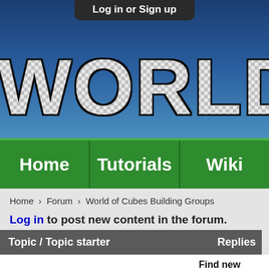Log in or Sign up
[Figure (screenshot): World of Cubes website banner with large pixelated/checkered 'WORLD OF' text on blue background]
Home  Tutorials  Wiki (navigation bar)
Home » Forum » World of Cubes Building Groups
Log in to post new content in the forum.
| Topic / Topic starter | Replies |
| --- | --- |
| Find new builders to your maps! Build maps
by wocadmin » Wed, 12/25/2013 - 17:42 |  |
| City destroyed by a Sand Storm
by Xan » Mon, 06/22/2015 - 17:01 |  |